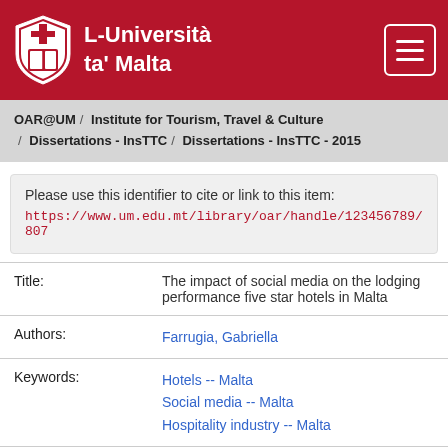L-Università ta' Malta
OAR@UM / Institute for Tourism, Travel & Culture / Dissertations - InsTTC / Dissertations - InsTTC - 2015
Please use this identifier to cite or link to this item: https://www.um.edu.mt/library/oar/handle/123456789/807
| Field | Value |
| --- | --- |
| Title: | The impact of social media on the lodging performance five star hotels in Malta |
| Authors: | Farrugia, Gabriella |
| Keywords: | Hotels -- Malta
Social media -- Malta
Hospitality industry -- Malta |
| Issue Date: | 2015 |